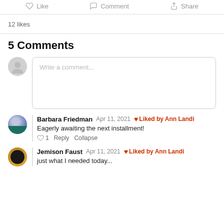Like   Comment   Share
12 likes
5 Comments
Write a comment...
Barbara Friedman   Apr 11, 2021   Liked by Ann Landi
Eagerly awaiting the next installment!
♡ 1   Reply   Collapse
Jemison Faust   Apr 11, 2021   Liked by Ann Landi
just what I needed today...